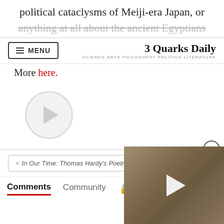political cataclysms of Meiji-era Japan, or
anything at all about the ancient Egyptians
3 Quarks Daily — SCIENCE ARTS PHILOSOPHY POLITICS LITERATURE
More here.
[Figure (other): Video player with circular play button]
< In Our Time: Thomas Hardy's Poetry
[Figure (photo): Embedded video overlay showing animal (bird/reptile) close-up with play button]
Comments  Community  🔒